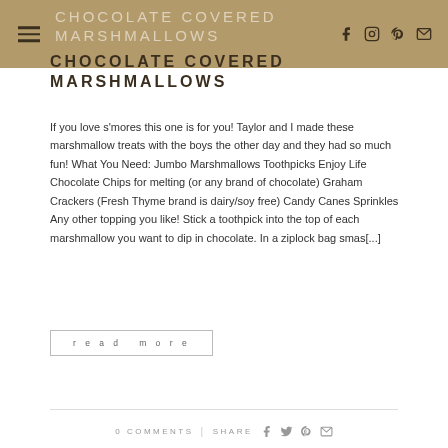CHOCOLATE COVERED MARSHMALLOWS
CHOCOLATE COVERED MARSHMALLOWS
If you love s'mores this one is for you! Taylor and I made these marshmallow treats with the boys the other day and they had so much fun! What You Need: Jumbo Marshmallows Toothpicks Enjoy Life Chocolate Chips for melting (or any brand of chocolate) Graham Crackers (Fresh Thyme brand is dairy/soy free) Candy Canes Sprinkles Any other topping you like! Stick a toothpick into the top of each marshmallow you want to dip in chocolate. In a ziplock bag smas[...]
read more
0 COMMENTS | SHARE